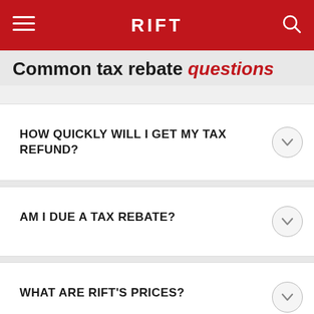RIFT
Common tax rebate questions
HOW QUICKLY WILL I GET MY TAX REFUND?
AM I DUE A TAX REBATE?
WHAT ARE RIFT'S PRICES?
LET'S CHAT
WHAT ARE YOUR OPENING HOURS?